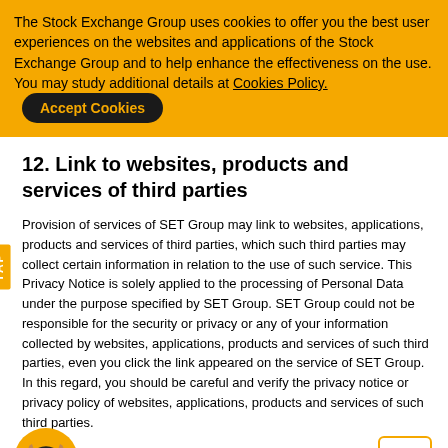The Stock Exchange Group uses cookies to offer you the best user experiences on the websites and applications of the Stock Exchange Group and to help enhance the effectiveness on the use. You may study additional details at Cookies Policy.
Accept Cookies
12. Link to websites, products and services of third parties
Provision of services of SET Group may link to websites, applications, products and services of third parties, which such third parties may collect certain information in relation to the use of such service. This Privacy Notice is solely applied to the processing of Personal Data under the purpose specified by SET Group. SET Group could not be responsible for the security or privacy or any of your information collected by websites, applications, products and services of such third parties, even you click the link appeared on the service of SET Group. In this regard, you should be careful and verify the privacy notice or privacy policy of websites, applications, products and services of such third parties.
[Figure (illustration): Bull mascot with headset icon on gold circular background]
13. How to contact SET Group